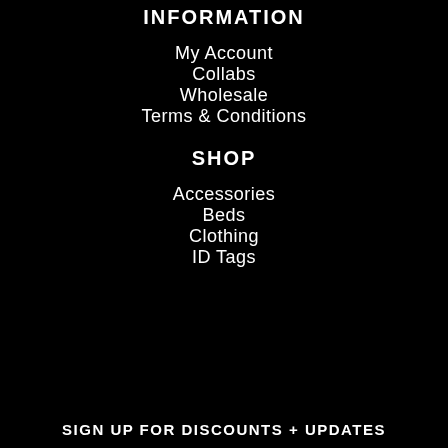INFORMATION
My Account
Collabs
Wholesale
Terms & Conditions
SHOP
Accessories
Beds
Clothing
ID Tags
SIGN UP FOR DISCOUNTS + UPDATES